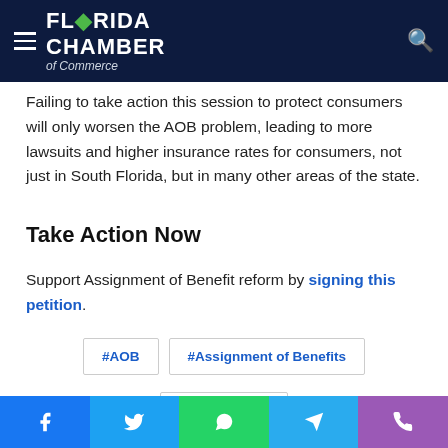Florida Chamber of Commerce
Failing to take action this session to protect consumers will only worsen the AOB problem, leading to more lawsuits and higher insurance rates for consumers, not just in South Florida, but in many other areas of the state.
Take Action Now
Support Assignment of Benefit reform by signing this petition.
#AOB
#Assignment of Benefits
#Barry Gilway